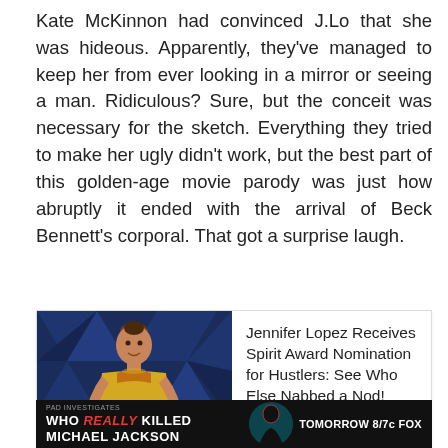Kate McKinnon had convinced J.Lo that she was hideous. Apparently, they've managed to keep her from ever looking in a mirror or seeing a man. Ridiculous? Sure, but the conceit was necessary for the sketch. Everything they tried to make her ugly didn't work, but the best part of this golden-age movie parody was just how abruptly it ended with the arrival of Beck Bennett's corporal. That got a surprise laugh.
[Figure (photo): Photo of Jennifer Lopez in a yellow strapless gown against a blue geometric background, alongside text about a Spirit Award nomination for Hustlers with a VIEW STORY link]
[Figure (infographic): Dark advertisement banner for 'WHO REALLY KILLED MICHAEL JACKSON' airing TOMORROW 8/7c FOX, with a silhouette graphic]